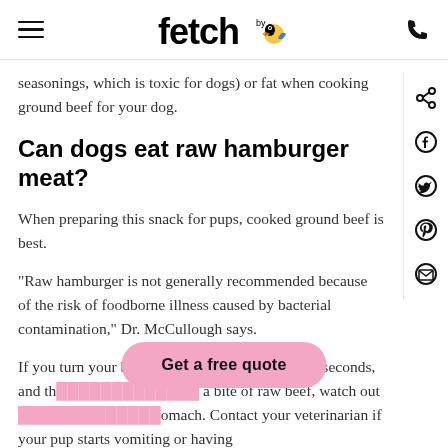fetch by (logo with bird icon)
seasonings, which is toxic for dogs) or fat when cooking ground beef for your dog.
Can dogs eat raw hamburger meat?
When preparing this snack for pups, cooked ground beef is best.
“Raw hamburger is not generally recommended because of the risk of foodborne illness caused by bacterial contamination,” Dr. McCullough says.
If you turn your back on your drooling pup for 2 seconds, and th… a bite of raw beef, watch out … omach. Contact your veterinarian if your pup starts vomiting or having